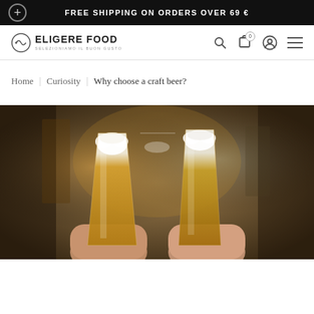FREE SHIPPING ON ORDERS OVER 69 €
ELIGERE FOOD - SELEZIONIAMO IL BUON GUSTO
Home | Curiosity | Why choose a craft beer?
[Figure (photo): Two people clinking full beer glasses with foam, warm background lighting suggesting a pub or bar setting.]